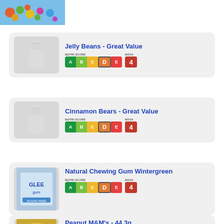[Figure (photo): Colorful candy/food product photo at top]
Jelly Beans - Great Value
[Figure (infographic): Nutri-Score D and NOVA 4 badge for Jelly Beans]
Cinnamon Bears - Great Value
[Figure (infographic): Nutri-Score D and NOVA 4 badge for Cinnamon Bears]
Natural Chewing Gum Wintergreen
[Figure (photo): Glee gum product photo]
[Figure (infographic): Nutri-Score D and NOVA 4 badge for Natural Chewing Gum Wintergreen]
Peanut M&M's - 44,3g
[Figure (infographic): Nutri-Score and NOVA badge for Peanut M&Ms (partially visible)]